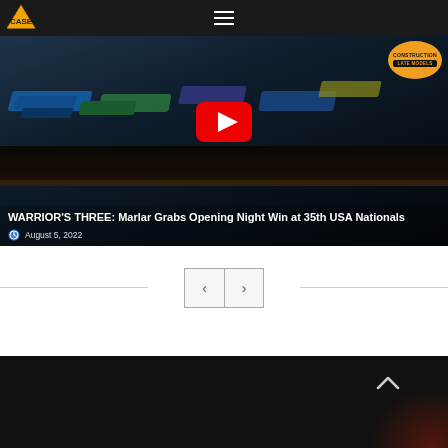Navigation bar with logo and hamburger menu
[Figure (screenshot): Video thumbnail showing dirt track race cars at night with YouTube play button overlay. Title: WARRIOR'S THREE: Marlar Grabs Opening Night Win at 35th USA Nationals. Date: August 5, 2022. Badge in top right corner reads CONSTRUCTION LATE MODELS.]
WARRIOR'S THREE: Marlar Grabs Opening Night Win at 35th USA Nationals
August 5, 2022
Pagination controls with previous and next arrow buttons
Dark footer with up arrow navigation button